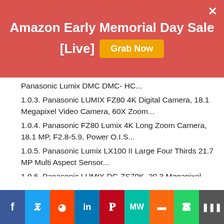Amazon Early Memorial Day Sale [Live]
Panasonic Lumix DMC DMC- HC...
1.0.3. Panasonic LUMIX FZ80 4K Digital Camera, 18.1 Megapixel Video Camera, 60X Zoom...
1.0.4. Panasonic FZ80 Lumix 4K Long Zoom Camera, 18.1 MP, F2.8-5.9, Power O.I.S...
1.0.5. Panasonic Lumix LX100 II Large Four Thirds 21.7 MP Multi Aspect Sensor...
1.0.6. Panasonic LUMIX DC-ZS70K, 20.3 Megapixel, 4K Digital Camera, Touch Enabled 3-Inch 180...
1.0.7. Photographer's Guide to the Panasonic Lumix DC-ZS70/TZ90: Gettting the Most from this...
1.1. Conclusions